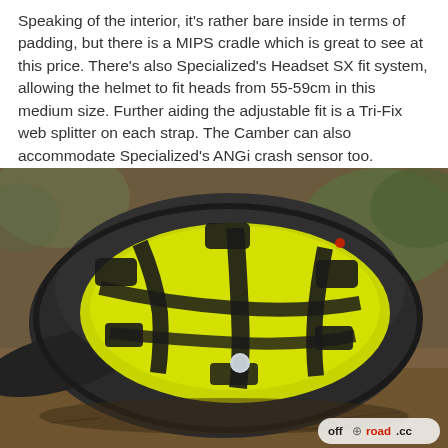Speaking of the interior, it's rather bare inside in terms of padding, but there is a MIPS cradle which is great to see at this price. There's also Specialized's Headset SX fit system, allowing the helmet to fit heads from 55-59cm in this medium size. Further aiding the adjustable fit is a Tri-Fix web splitter on each strap. The Camber can also accommodate Specialized's ANGi crash sensor too.
[Figure (photo): Interior view of a black and yellow Specialized Camber bicycle helmet lying on the ground outdoors, showing the MIPS cradle (bright yellow), padding straps, and ventilation structure. The off-road.cc watermark appears in the bottom right corner.]